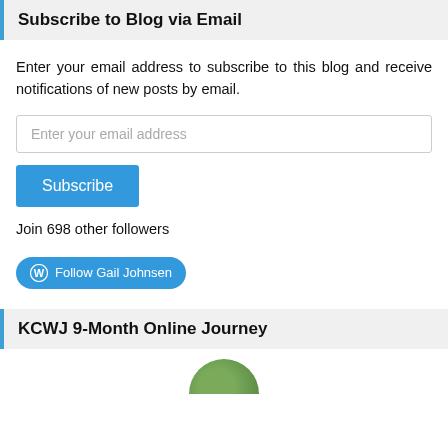Subscribe to Blog via Email
Enter your email address to subscribe to this blog and receive notifications of new posts by email.
Enter your email address
Subscribe
Join 698 other followers
Follow Gail Johnsen
KCWJ 9-Month Online Journey
[Figure (illustration): Partial view of a circular profile image at the bottom of the page]